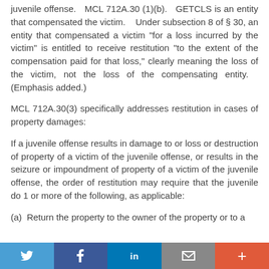juvenile offense.   MCL 712A.30 (1)(b).   GETCLS is an entity that compensated the victim.    Under subsection 8 of § 30, an entity that compensated a victim "for a loss incurred by the victim" is entitled to receive restitution "to the extent of the compensation paid for that loss," clearly meaning the loss of the victim, not the loss of the compensating entity.   (Emphasis added.)
MCL 712A.30(3) specifically addresses restitution in cases of property damages:
If a juvenile offense results in damage to or loss or destruction of property of a victim of the juvenile offense, or results in the seizure or impoundment of property of a victim of the juvenile offense, the order of restitution may require that the juvenile do 1 or more of the following, as applicable:
(a)  Return the property to the owner of the property or to a
Twitter | Facebook | LinkedIn | Email | +